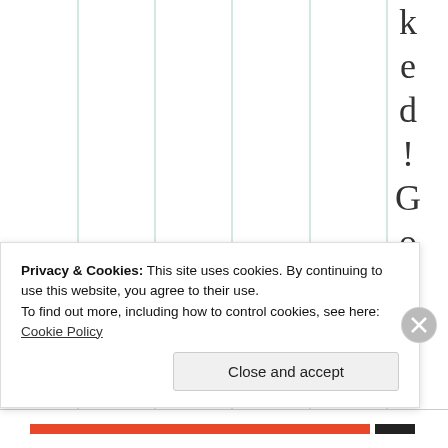[Figure (other): Partial view of a table or chart with vertical column lines and rotated text spelling 'ked!Goodoony' visible on the right side]
Privacy & Cookies: This site uses cookies. By continuing to use this website, you agree to their use.
To find out more, including how to control cookies, see here: Cookie Policy
Close and accept